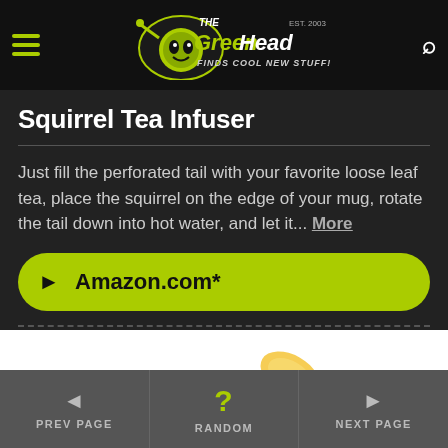The Green Head - Finds Cool New Stuff!
Squirrel Tea Infuser
Just fill the perforated tail with your favorite loose leaf tea, place the squirrel on the edge of your mug, rotate the tail down into hot water, and let it... More
► Amazon.com*
[Figure (photo): Photo of a glass jar/mug with lemon slices and what appears to be a tea infuser, on a white background]
PREV PAGE | RANDOM | NEXT PAGE